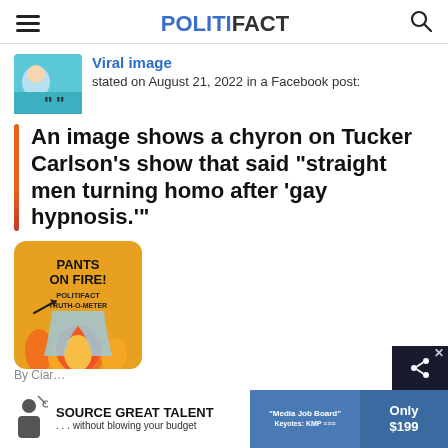POLITIFACT
Viral image
stated on August 21, 2022 in a Facebook post:
An image shows a chyron on Tucker Carlson’s show that said “straight men turning homo after ‘gay hypnosis.’”
[Figure (illustration): Pants on Fire rating badge from PolitiFact Truth-O-Meter, showing yellow/orange background with flames and text 'PANTS ON FIRE! POLITIFACT TRUTH-O-METER']
By Ciar…
[Figure (infographic): Advertisement banner: SOURCE GREAT TALENT ... without blowing your budget | Media Job Board | Only $199]